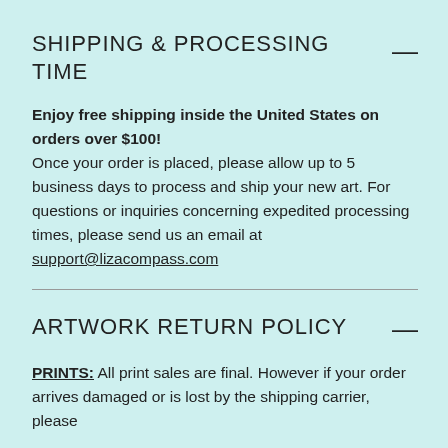SHIPPING & PROCESSING TIME
Enjoy free shipping inside the United States on orders over $100! Once your order is placed, please allow up to 5 business days to process and ship your new art. For questions or inquiries concerning expedited processing times, please send us an email at support@lizacompass.com
ARTWORK RETURN POLICY
PRINTS: All print sales are final. However if your order arrives damaged or is lost by the shipping carrier, please